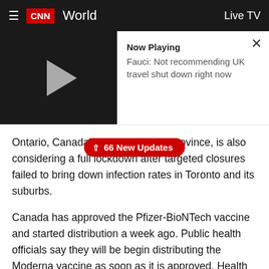CNN World — Live TV
[Figure (screenshot): Video player thumbnail showing a play button on dark background, with 'Now Playing' label and title 'Fauci: Not recommending UK travel shut down right now'. A close (X) button is in the top right.]
Ontario, Canada's most populous province, is also considering a full lockdown after targeted closures failed to bring down infection rates in Toronto and its suburbs.
Canada has approved the Pfizer-BioNTech vaccine and started distribution a week ago. Public health officials say they will be begin distributing the Moderna vaccine as soon as it is approved. Health Canada, the national regulator, said it continues to review Moderna's data and approval is expected within days.